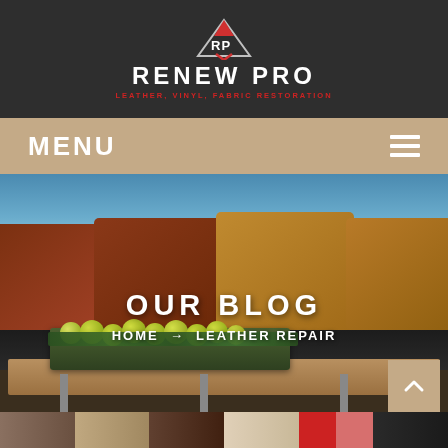[Figure (logo): Renew Pro logo - RP shield icon in dark header with brand name and tagline]
RENEW PRO
LEATHER, VINYL, FABRIC RESTORATION
MENU
[Figure (photo): Outdoor boat/yacht seating area with brown and tan leather/vinyl cushions, a tray of green apples on a wooden table, ocean in background]
OUR BLOG
HOME → LEATHER REPAIR
[Figure (other): Back to top button - upward chevron on tan background, bottom right corner]
[Figure (screenshot): Bottom strip showing partial images or thumbnails]